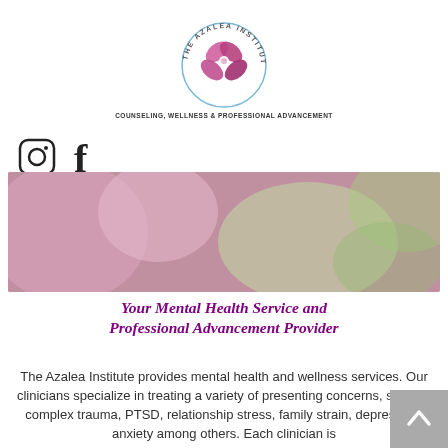[Figure (logo): The Azalea Institute circular logo with pink flower petals and text around the circle reading 'THE AZALEA INSTITUTE' and below 'COUNSELING, WELLNESS & PROFESSIONAL ADVANCEMENT']
[Figure (illustration): Instagram and Facebook social media icons]
[Figure (photo): Banner with pink and green bokeh background containing a white box with text 'Welcome to The Azalea Institute']
Welcome to The Azalea Institute
Your Mental Health Service and Professional Advancement Provider
The Azalea Institute provides mental health and wellness services. Our clinicians specialize in treating a variety of presenting concerns, such as complex trauma, PTSD, relationship stress, family strain, depression, anxiety among others. Each clinician is